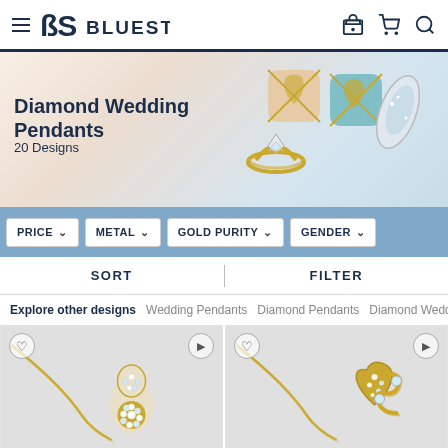Bluestone - Navigation bar with hamburger menu, logo, store icon, cart icon, search icon
[Figure (photo): Hero banner showing diamond jewelry pieces including rings, earrings, and pendants on a light beige/peach fabric background. Text overlay: Diamond Wedding Pendants, 20 Designs.]
Diamond Wedding Pendants
20 Designs
PRICE  ∨    METAL  ∨    GOLD PURITY  ∨    GENDER  ∨
SORT    FILTER
Explore other designs   Wedding Pendants   Diamond Pendants   Diamond Wedd…
[Figure (photo): Left product card showing a gold diamond pendant necklace with floral/snowflake diamond design and a sliding ball chain. Heart (wishlist) and play icons visible.]
[Figure (photo): Right product card showing a gold heart-shaped diamond pendant necklace with a stylized intertwined S-curve design. Heart (wishlist) and play icons visible.]